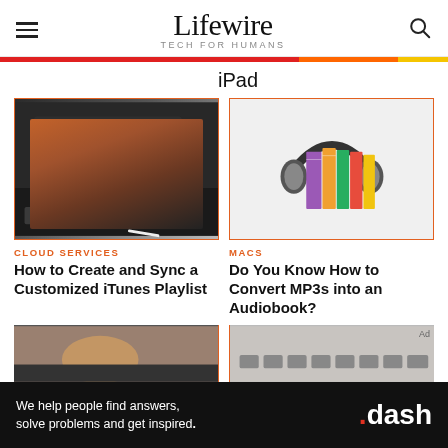Lifewire — TECH FOR HUMANS
iPad
[Figure (photo): Laptop/tablet on a dark desk with cable, overhead angle]
CLOUD SERVICES
How to Create and Sync a Customized iTunes Playlist
[Figure (photo): Colorful books with headphones around them on white background]
MACS
Do You Know How to Convert MP3s into an Audiobook?
[Figure (photo): Partial bottom-left article thumbnail]
[Figure (photo): Partial bottom-right article thumbnail with keyboard]
Ad — We help people find answers, solve problems and get inspired. .dash